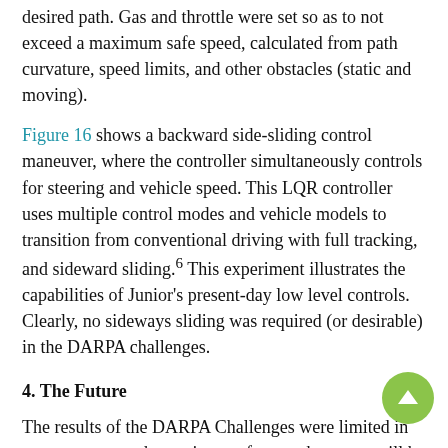desired path. Gas and throttle were set so as to not exceed a maximum safe speed, calculated from path curvature, speed limits, and other obstacles (static and moving).
Figure 16 shows a backward side-sliding control maneuver, where the controller simultaneously controls for steering and vehicle speed. This LQR controller uses multiple control modes and vehicle models to transition from conventional driving with full tracking, and sideward sliding.6 This experiment illustrates the capabilities of Junior's present-day low level controls. Clearly, no sideways sliding was required (or desirable) in the DARPA challenges.
4. The Future
The results of the DARPA Challenges were limited in many ways, yet they point at a future where cars will be safer and a whole lot more convenient.
Future versions of the DARPA Challenge technology may